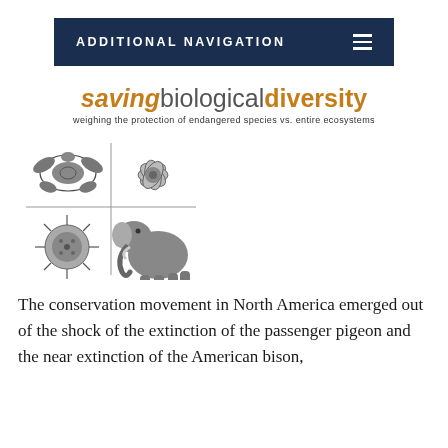ADDITIONAL NAVIGATION
savingbiologicaldiversity — weighing the protection of endangered species vs. entire ecosystems
[Figure (illustration): A 2x2 grid collage of four black-and-white illustrations: top-left is a sea turtle, top-right is a flower/orchid, bottom-left is a sea urchin or coral, bottom-right is an elephant.]
The conservation movement in North America emerged out of the shock of the extinction of the passenger pigeon and the near extinction of the American bison,